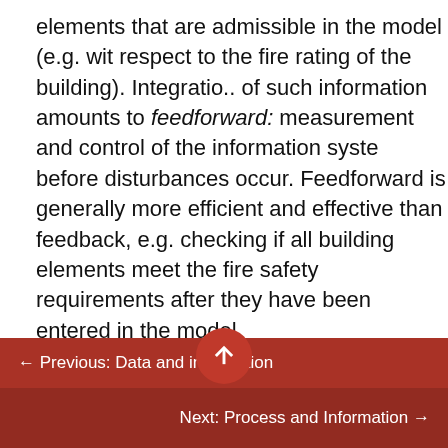elements that are admissible in the model (e.g. with respect to the fire rating of the building). Integration of such information amounts to feedforward: measurement and control of the information system before disturbances occur. Feedforward is generally more efficient and effective than feedback, e.g. checking if all building elements meet the fire safety requirements after they have been entered in the model.
It has also been suggested that early design decisions have a bigger impact on the outcome of a design process than later decisions. Having to decide on the basis of little overt information makes
← Previous: Data and information
Next: Process and Information →